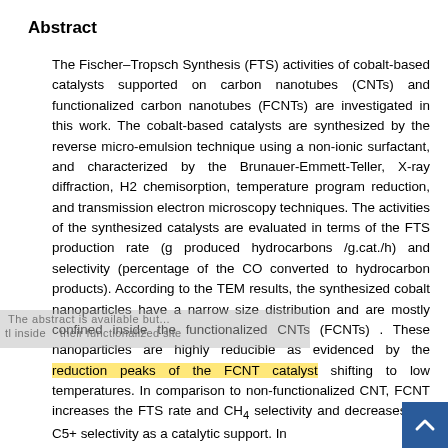Abstract
The Fischer–Tropsch Synthesis (FTS) activities of cobalt-based catalysts supported on carbon nanotubes (CNTs) and functionalized carbon nanotubes (FCNTs) are investigated in this work. The cobalt-based catalysts are synthesized by the reverse micro-emulsion technique using a non-ionic surfactant, and characterized by the Brunauer-Emmett-Teller, X-ray diffraction, H2 chemisorption, temperature program reduction, and transmission electron microscopy techniques. The activities of the synthesized catalysts are evaluated in terms of the FTS production rate (g produced hydrocarbons /g.cat./h) and selectivity (percentage of the CO converted to hydrocarbon products). According to the TEM results, the synthesized cobalt nanoparticles have a narrow size distribution and are mostly confined inside the functionalized CNTs (FCNTs) . These nanoparticles are highly reducible as evidenced by the reduction peaks of the FCNT catalyst shifting to low temperatures. In comparison to non-functionalized CNT, FCNT increases the FTS rate and CH4 selectivity and decreases the C5+ selectivity as a catalytic support. In